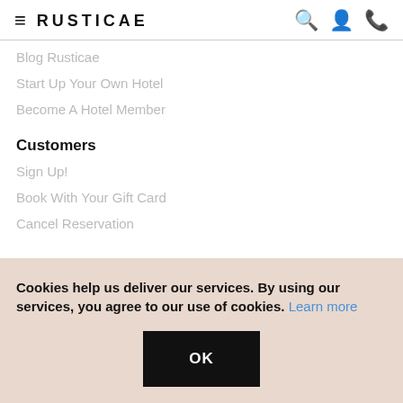≡ RUSTICAE
Blog Rusticae
Start Up Your Own Hotel
Become A Hotel Member
Customers
Sign Up!
Book With Your Gift Card
Cancel Reservation
Cookies help us deliver our services. By using our services, you agree to our use of cookies. Learn more
OK